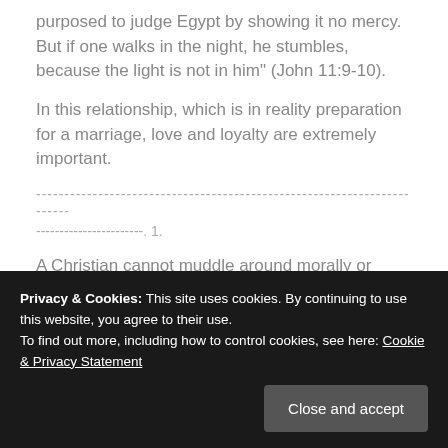purposed to judge Egypt by showing it no mercy. But if one walks in the night, he stumbles, because the light is not in him" (John 11:9-10).
In this relationship, which is in reality preparation for a marriage, love and loyalty are extremely important.
------------------------------------------------------------------------ 1.
A Christian cannot muddle around morally or spiritually, thinking that sin is a rather minor affair. Baptism in the Reformed Tradition (Resources), Sermons and Discourses, 1739-1742 (WJE Online Vol. Just as Adam and Eve were "cut off" from paradise, God promised to
death?
Privacy & Cookies: This site uses cookies. By continuing to use this website, you agree to their use.
To find out more, including how to control cookies, see here: Cookie & Privacy Statement
[Close and accept]